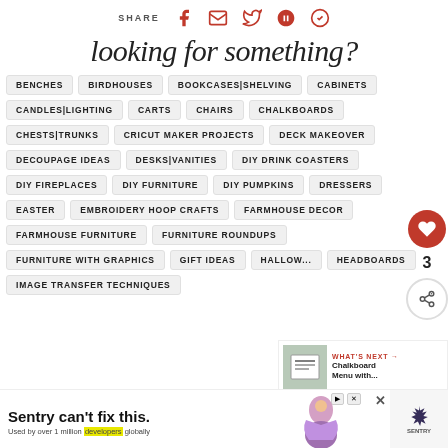SHARE [social icons]
looking for something?
BENCHES
BIRDHOUSES
BOOKCASES|SHELVING
CABINETS
CANDLES|LIGHTING
CARTS
CHAIRS
CHALKBOARDS
CHESTS|TRUNKS
CRICUT MAKER PROJECTS
DECK MAKEOVER
DECOUPAGE IDEAS
DESKS|VANITIES
DIY DRINK COASTERS
DIY FIREPLACES
DIY FURNITURE
DIY PUMPKINS
DRESSERS
EASTER
EMBROIDERY HOOP CRAFTS
FARMHOUSE DECOR
FARMHOUSE FURNITURE
FURNITURE ROUNDUPS
FURNITURE WITH GRAPHICS
GIFT IDEAS
HALLOWEEN
HEADBOARDS
IMAGE TRANSFER TECHNIQUES
WHAT'S NEXT → Chalkboard Menu with...
[Figure (photo): Sentry advertisement: Sentry can't fix this. Used by over 1 million developers globally.]